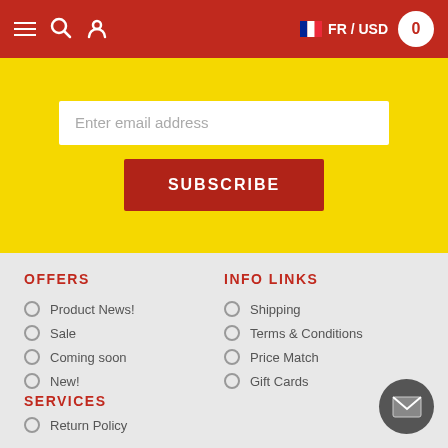Navigation bar with hamburger menu, search, user icons, FR / USD language selector, and cart (0)
Enter email address
SUBSCRIBE
OFFERS
INFO LINKS
Product News!
Sale
Coming soon
New!
Shipping
Terms & Conditions
Price Match
Gift Cards
SERVICES
Return Policy